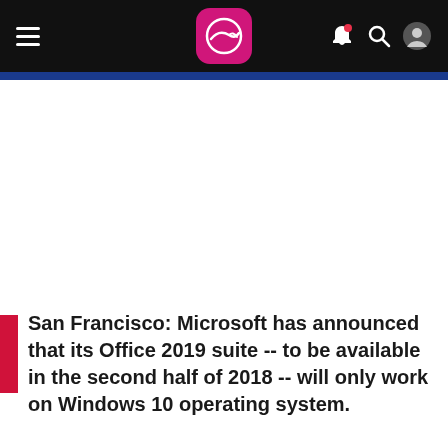Navigation header with logo, hamburger menu, notification, search, and profile icons
San Francisco: Microsoft has announced that its Office 2019 suite -- to be available in the second half of 2018 -- will only work on Windows 10 operating system.
"Office 2019 will ship in H2 of 2018. Previews of the